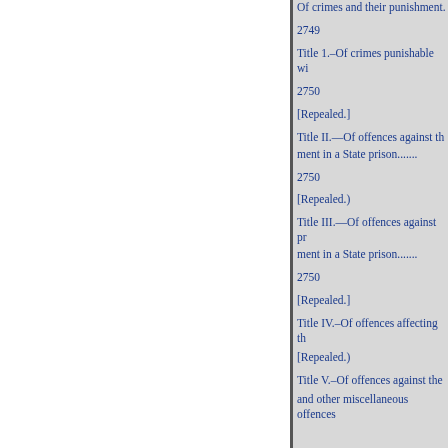Of crimes and their punishment.
2749
Title 1.–Of crimes punishable wi
2750
[Repealed.]
Title II.—Of offences against th
ment in a State prison.......
2750
[Repealed.)
Title III.—Of offences against pr
ment in a State prison.......
2750
[Repealed.]
Title IV.–Of offences affecting th
[Repealed.)
Title V.–Of offences against the
and other miscellaneous offences